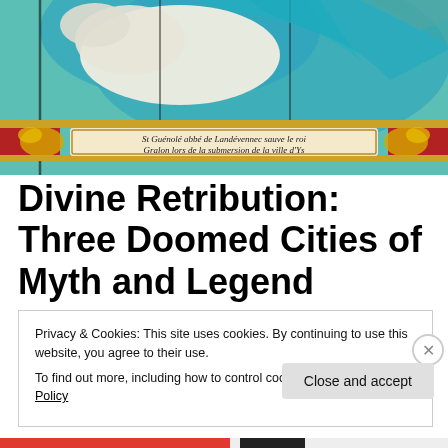[Figure (photo): Stained glass window depicting St. Guénolé abbot of Landévennec saving king Gralon during the submersion of the city of Ys. A white horse and teal/blue drapery are visible, with a banner inscription in Gothic script reading: 'St Guénolé abbé de Landévennec sauve le roi Gralon lors de la submersion de la ville d'Ys']
Divine Retribution: Three Doomed Cities of Myth and Legend
Privacy & Cookies: This site uses cookies. By continuing to use this website, you agree to their use.
To find out more, including how to control cookies, see here: Cookie Policy